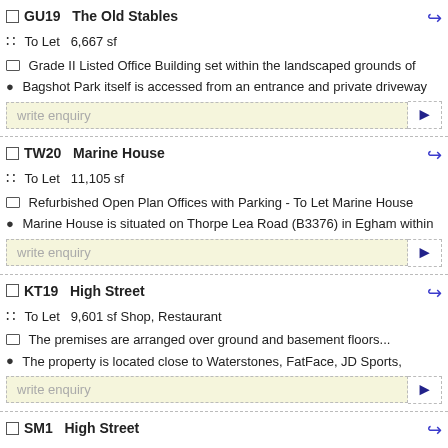GU19  The Old Stables
To Let  6,667 sf
Grade II Listed Office Building set within the landscaped grounds of
Bagshot Park itself is accessed from an entrance and private driveway
write enquiry
TW20  Marine House
To Let  11,105 sf
Refurbished Open Plan Offices with Parking - To Let Marine House
Marine House is situated on Thorpe Lea Road (B3376) in Egham within
write enquiry
KT19  High Street
To Let  9,601 sf Shop, Restaurant
The premises are arranged over ground and basement floors...
The property is located close to Waterstones, FatFace, JD Sports,
write enquiry
SM1  High Street
To Let  5,560 sf Restaurant, Shop, Pub / Bar